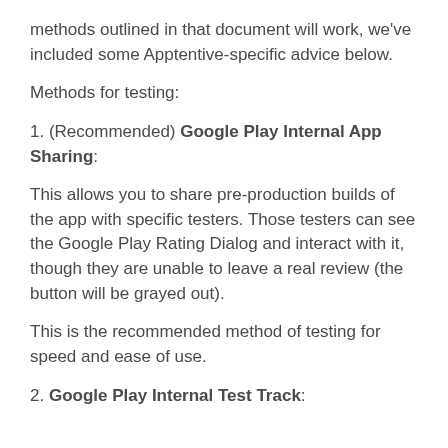methods outlined in that document will work, we've included some Apptentive-specific advice below.
Methods for testing:
1. (Recommended) Google Play Internal App Sharing:
This allows you to share pre-production builds of the app with specific testers. Those testers can see the Google Play Rating Dialog and interact with it, though they are unable to leave a real review (the button will be grayed out).
This is the recommended method of testing for speed and ease of use.
2. Google Play Internal Test Track: